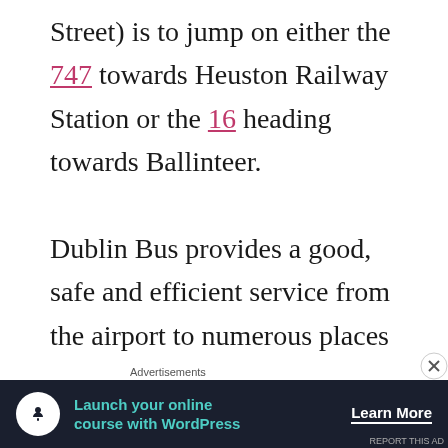Street) is to jump on either the 747 towards Heuston Railway Station or the 16 heading towards Ballinteer.

Dublin Bus provides a good, safe and efficient service from the airport to numerous places in Ireland – as well as Northern Ireland. You simply walk out of the airport, to the bus stops located nearby and pay for the ticket you want for
Advertisements
[Figure (other): Advertisement banner: dark navy background with circular white icon (person/tree silhouette), teal text 'Launch your online course with WordPress', white bold 'Learn More' button text with underline.]